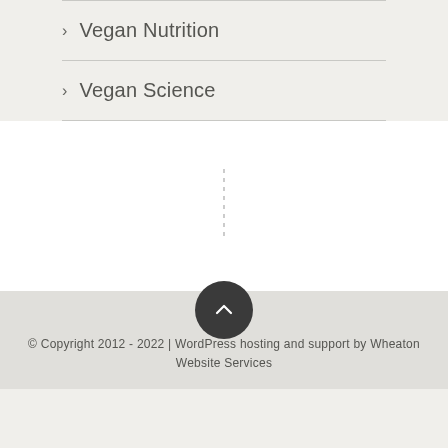> Vegan Nutrition
> Vegan Science
© Copyright 2012 - 2022 | WordPress hosting and support by Wheaton Website Services